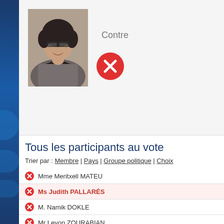[Figure (photo): Headshot photo of Ms Judith PALLARÉS, a woman with curly dark hair and glasses wearing a gray jacket]
Contre
[Figure (illustration): Red circle with white X mark indicating a vote against]
Tous les participants au vote
Trier par : Membre | Pays | Groupe politique | Choix
Mme Meritxell MATEU
Ms Judith PALLARÉS
M. Namik DOKLE
Mr Levon ZOURABIAN
Mr Franz Leonhard ESSL